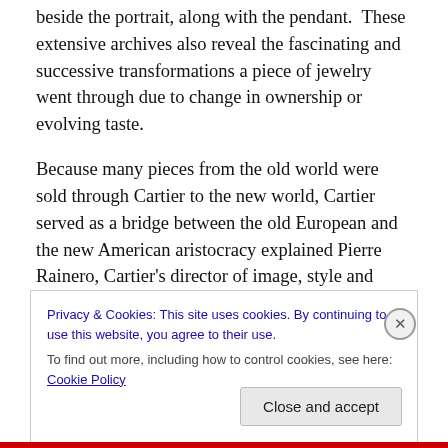beside the portrait, along with the pendant.  These extensive archives also reveal the fascinating and successive transformations a piece of jewelry went through due to change in ownership or evolving taste.

Because many pieces from the old world were sold through Cartier to the new world, Cartier served as a bridge between the old European and the new American aristocracy explained Pierre Rainero, Cartier's director of image, style and heritage.  Some of the famed jewelry of Empress Eugenie, wife of Napolean Bonaparte
Privacy & Cookies: This site uses cookies. By continuing to use this website, you agree to their use.
To find out more, including how to control cookies, see here: Cookie Policy